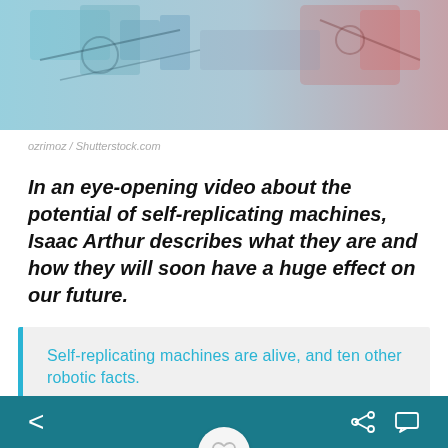[Figure (photo): Hero image of robotic machinery with blue and red tint overlay]
ozrimoz / Shutterstock.com
In an eye-opening video about the potential of self-replicating machines, Isaac Arthur describes what they are and how they will soon have a huge effect on our future.
Self-replicating machines are alive, and ten other robotic facts.
CLICK TO TWEET